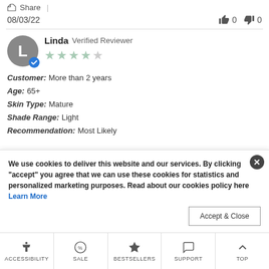Share | 08/03/22   👍 0  👎 0
Linda Verified Reviewer ★★★★☆
Customer: More than 2 years
Age: 65+
Skin Type: Mature
Shade Range: Light
Recommendation: Most Likely
We use cookies to deliver this website and our services. By clicking "accept" you agree that we can use these cookies for statistics and personalized marketing purposes. Read about our cookies policy here Learn More
ACCESSIBILITY | SALE | BESTSELLERS | SUPPORT | TOP